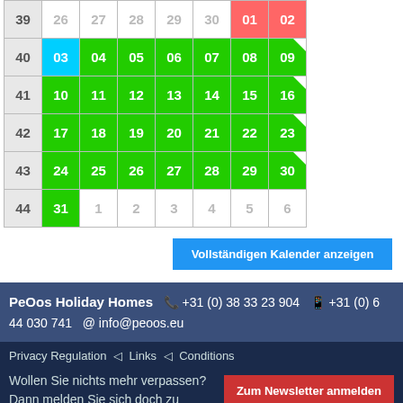| KW | Mo | Tu | We | Th | Fr | Sa | Su |
| --- | --- | --- | --- | --- | --- | --- | --- |
| 39 | 26 | 27 | 28 | 29 | 30 | 01 | 02 |
| 40 | 03 | 04 | 05 | 06 | 07 | 08 | 09 |
| 41 | 10 | 11 | 12 | 13 | 14 | 15 | 16 |
| 42 | 17 | 18 | 19 | 20 | 21 | 22 | 23 |
| 43 | 24 | 25 | 26 | 27 | 28 | 29 | 30 |
| 44 | 31 | 1 | 2 | 3 | 4 | 5 | 6 |
Vollständigen Kalender anzeigen
PeOos Holiday Homes  +31 (0) 38 33 23 904  +31 (0) 6 44 030 741  info@peoos.eu
Privacy Regulation  |  Links  |  Conditions
Wollen Sie nichts mehr verpassen? Dann melden Sie sich doch zu unserem Newsletter an!
Zum Newsletter anmelden